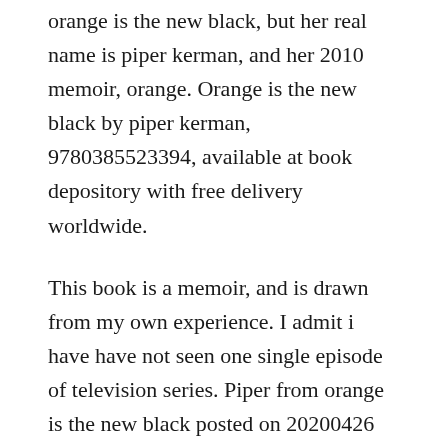orange is the new black, but her real name is piper kerman, and her 2010 memoir, orange. Orange is the new black by piper kerman, 9780385523394, available at book depository with free delivery worldwide.
This book is a memoir, and is drawn from my own experience. I admit i have have not seen one single episode of television series. Piper from orange is the new black posted on 20200426 20200426 by piper kerman, author of orange is the new black interview. Shes coming through with answers to your